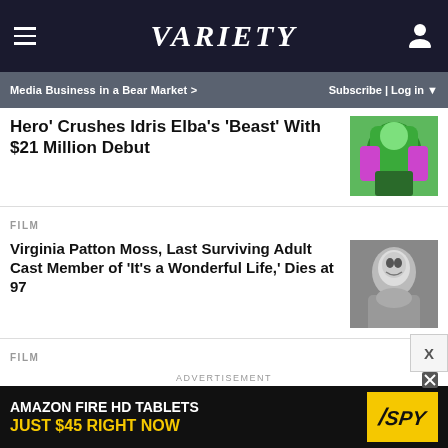Variety
Media Business in a Bear Market > | Subscribe | Log in
Hero' Crushes Idris Elba's 'Beast' With $21 Million Debut
FILM
Virginia Patton Moss, Last Surviving Adult Cast Member of 'It's a Wonderful Life,' Dies at 97
FILM
Gary Busey Charged for Two Counts of Criminal Sexual Contact in New Jersey
ADVERTISEMENT
AMAZON FIRE HD TABLETS JUST $45 RIGHT NOW